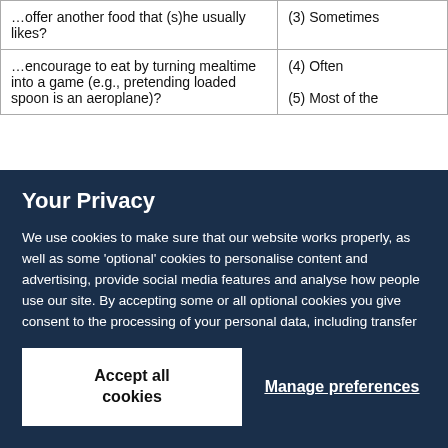| …offer another food that (s)he usually likes? | (3) Sometimes |
| …encourage to eat by turning mealtime into a game (e.g., pretending loaded spoon is an aeroplane)? | (4) Often
(5) Most of the |
Your Privacy
We use cookies to make sure that our website works properly, as well as some 'optional' cookies to personalise content and advertising, provide social media features and analyse how people use our site. By accepting some or all optional cookies you give consent to the processing of your personal data, including transfer to third parties, some in countries outside of the European Economic Area that do not offer the same data protection standards as the country where you live. You can decide which optional cookies to accept by clicking on 'Manage Settings', where you can also find more information about how your personal data is processed. Further information can be found in our privacy policy.
Accept all cookies
Manage preferences